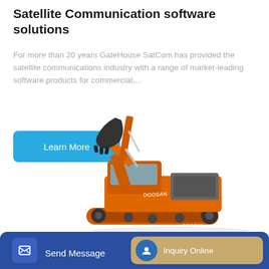Satellite Communication software solutions
For more than 20 years GateHouse SatCom has provided the satellite communications industry with a range of market-leading software products for commercial,...
[Figure (other): Blue 'Learn More' button]
[Figure (photo): Orange Doosan hydraulic excavator on white background]
[Figure (other): Bottom navigation bar with 'Send Message' button (blue) and 'Inquiry Online' button (tan/gold)]